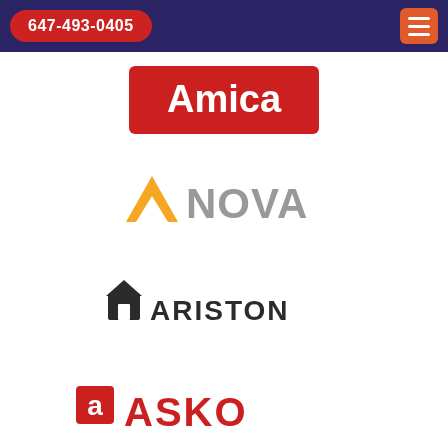647-493-0405
[Figure (logo): Amica logo - white text on red rounded rectangle background]
[Figure (logo): ANOVA logo - orange A chevron followed by NOVA in gray capital letters]
[Figure (logo): ARISTON logo - house/flame icon in dark color followed by ARISTON in dark capital letters]
[Figure (logo): ASKO logo - stylized red A icon followed by ASKO in bold red capital letters]